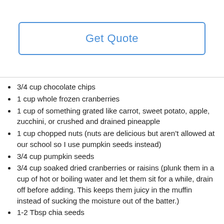[Figure (other): Get Quote button — a rectangular button with blue border and blue text reading 'Get Quote' on a white background]
3/4 cup chocolate chips
1 cup whole frozen cranberries
1 cup of something grated like carrot, sweet potato, apple, zucchini, or crushed and drained pineapple
1 cup chopped nuts (nuts are delicious but aren't allowed at our school so I use pumpkin seeds instead)
3/4 cup pumpkin seeds
3/4 cup soaked dried cranberries or raisins (plunk them in a cup of hot or boiling water and let them sit for a while, drain off before adding. This keeps them juicy in the muffin instead of sucking the moisture out of the batter.)
1-2 Tbsp chia seeds